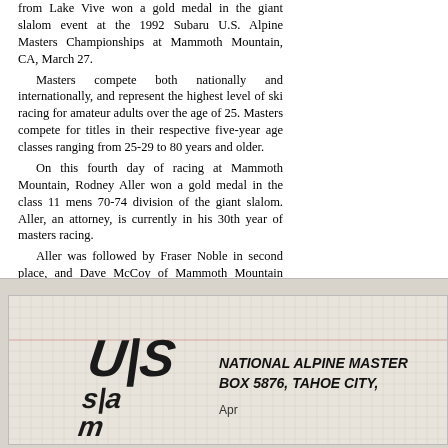from Lake Vive won a gold medal in the giant slalom event at the 1992 Subaru U.S. Alpine Masters Championships at Mammoth Mountain, CA, March 27.

Masters compete both nationally and internationally, and represent the highest level of ski racing for amateur adults over the age of 25. Masters compete for titles in their respective five-year age classes ranging from 25-29 to 80 years and older.

On this fourth day of racing at Mammoth Mountain, Rodney Aller won a gold medal in the class 11 mens 70-74 division of the giant slalom. Aller, an attorney, is currently in his 30th year of masters racing.

Aller was followed by Fraser Noble in second place, and Dave McCoy of Mammoth Mountain took the bronze medal.
[Figure (logo): U.S. Alpine Masters logo — stylized USA text in bold diagonal lettering]
NATIONAL ALPINE MASTER... BOX 5876, TAHOE CITY, Apr...